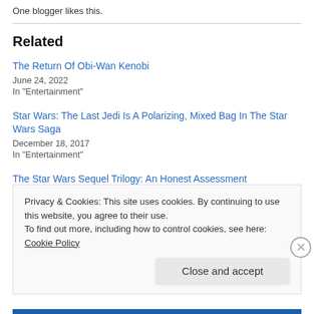One blogger likes this.
Related
The Return Of Obi-Wan Kenobi
June 24, 2022
In "Entertainment"
Star Wars: The Last Jedi Is A Polarizing, Mixed Bag In The Star Wars Saga
December 18, 2017
In "Entertainment"
The Star Wars Sequel Trilogy: An Honest Assessment
Privacy & Cookies: This site uses cookies. By continuing to use this website, you agree to their use.
To find out more, including how to control cookies, see here: Cookie Policy
Close and accept